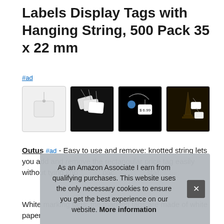Labels Display Tags with Hanging String, 500 Pack 35 x 22 mm
#ad
[Figure (photo): Four product images showing white hanging price tags: first on white background showing single tag, second on black background showing multiple tags fanned out, third on black background showing tag with price attached to jewelry, fourth on dark background showing tags on small figurine.]
Outus #ad - Easy to use and remove: knotted string lets you add and remove the rectangular price tag easily without tying kno... pac... stat...
White marking tags: the marking tags are made of white paper
As an Amazon Associate I earn from qualifying purchases. This website uses the only necessary cookies to ensure you get the best experience on our website. More information